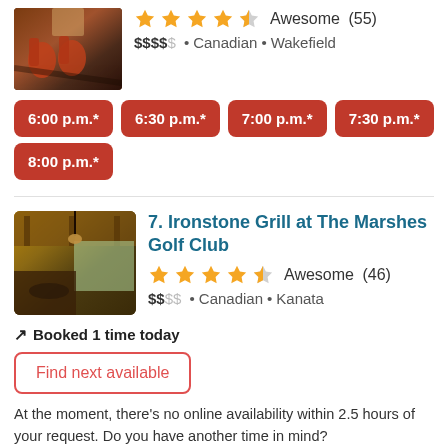[Figure (photo): Restaurant interior with orange/red chairs and dark wood flooring]
★★★★½ Awesome (55)
$$$$$ • Canadian • Wakefield
6:00 p.m.*
6:30 p.m.*
7:00 p.m.*
7:30 p.m.*
8:00 p.m.*
[Figure (photo): Ironstone Grill restaurant interior with wooden ceiling and outdoor view]
7. Ironstone Grill at The Marshes Golf Club
★★★★½ Awesome (46)
$$SS • Canadian • Kanata
Booked 1 time today
Find next available
At the moment, there's no online availability within 2.5 hours of your request. Do you have another time in mind?